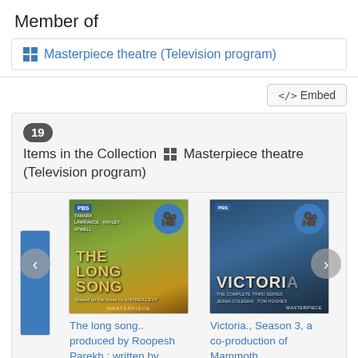Member of
Masterpiece theatre (Television program)
</> Embed
19 Items in the Collection Masterpiece theatre (Television program)
[Figure (illustration): Book/DVD cover for 'The Long Song' - PBS Masterpiece production, showing a person in a cornfield]
The long song.. produced by Roopesh Parekh ; written by
[Figure (illustration): DVD cover for 'Victoria., Season 3' - PBS Masterpiece production]
Victoria., Season 3, a co-production of Mammoth